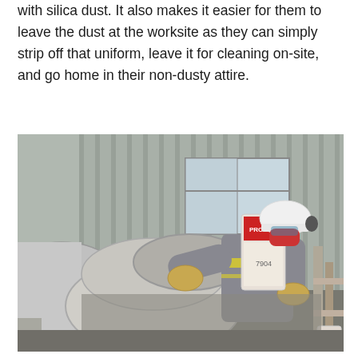with silica dust. It also makes it easier for them to leave the dust at the worksite as they can simply strip off that uniform, leave it for cleaning on-site, and go home in their non-dusty attire.
[Figure (photo): A construction worker wearing a white hard hat, respirator mask, hi-vis vest, and grey coveralls, pouring a bag of material (cement or similar) into a cement mixer drum. The background shows a corrugated metal building wall and a window. The scene depicts dusty construction work.]